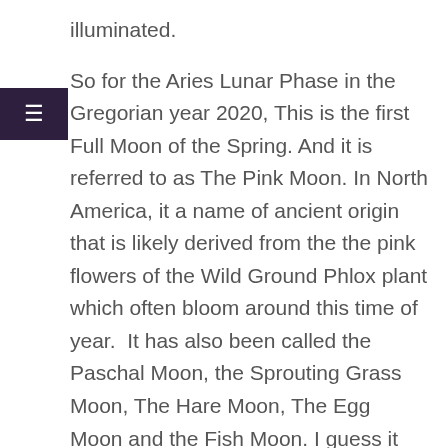illuminated.
So for the Aries Lunar Phase in the Gregorian year 2020, This is the first Full Moon of the Spring. And it is referred to as The Pink Moon. In North America, it a name of ancient origin that is likely derived from the the pink flowers of the Wild Ground Phlox plant which often bloom around this time of year.  It has also been called the Paschal Moon, the Sprouting Grass Moon, The Hare Moon, The Egg Moon and the Fish Moon. I guess it depends on where you are.
April full moons mark the arrival of spring in the Northern Hemisphere and autumn in the Southern Hemisphere.